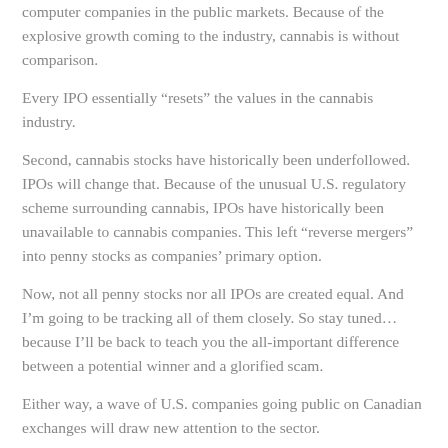computer companies in the public markets. Because of the explosive growth coming to the industry, cannabis is without comparison.
Every IPO essentially “resets” the values in the cannabis industry.
Second, cannabis stocks have historically been underfollowed. IPOs will change that. Because of the unusual U.S. regulatory scheme surrounding cannabis, IPOs have historically been unavailable to cannabis companies. This left “reverse mergers” into penny stocks as companies’ primary option.
Now, not all penny stocks nor all IPOs are created equal. And I’m going to be tracking all of them closely. So stay tuned… because I’ll be back to teach you the all-important difference between a potential winner and a glorified scam.
Either way, a wave of U.S. companies going public on Canadian exchanges will draw new attention to the sector.
The combination of these factors will be explosive for existing U.S. cannabis stocks.